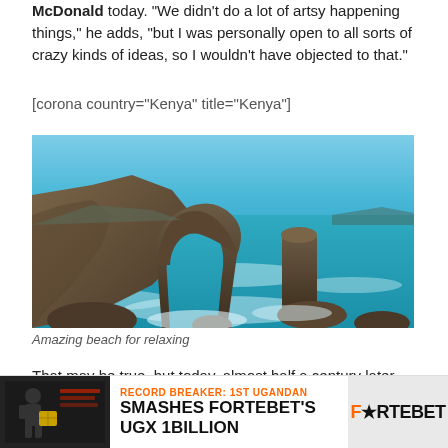McDonald today. "We didn't do a lot of artsy happening things," he adds, "but I was personally open to all sorts of crazy kinds of ideas, so I wouldn't have objected to that."
[corona country="Kenya" title="Kenya"]
[Figure (photo): Coastal rock arch formation with turquoise ocean water and rocky outcroppings, scenic seascape with crashing waves.]
Amazing beach for relaxing
That may be true, but today, almost half a century later,
[Figure (infographic): ForteBet advertisement banner: Record Breaker: 1st Ugandan Smashes ForteBet's UGX 1BILLION]